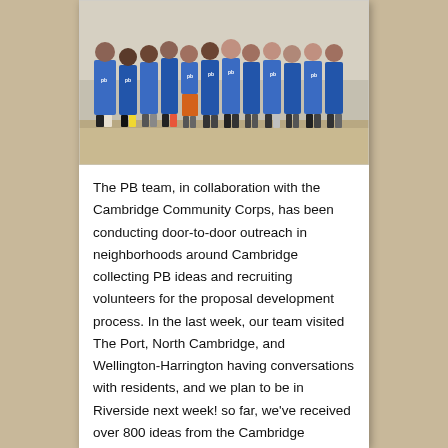[Figure (photo): Group photo of PB team members and Cambridge Community Corps volunteers wearing blue t-shirts, standing outdoors on a sandy/dirt surface in front of a building.]
The PB team, in collaboration with the Cambridge Community Corps, has been conducting door-to-door outreach in neighborhoods around Cambridge collecting PB ideas and recruiting volunteers for the proposal development process. In the last week, our team visited The Port, North Cambridge, and Wellington-Harrington having conversations with residents, and we plan to be in Riverside next week! so far, we've received over 800 ideas from the Cambridge community, and we hope to collect many more ideas in the final week of the Idea Collection phase. The deadline